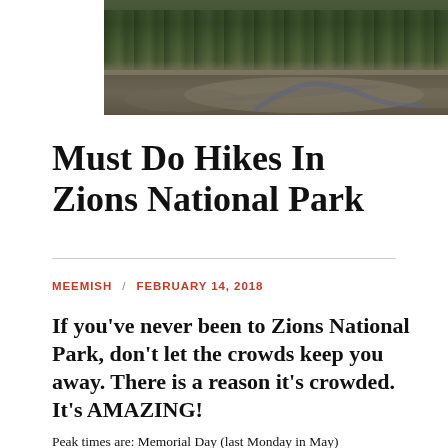[Figure (photo): Aerial or elevated landscape photo of Zions National Park showing rocky terrain, green trees/shrubs, and a winding stream or river path through the landscape.]
Must Do Hikes In Zions National Park
MEEMISH / FEBRUARY 14, 2018
If you've never been to Zions National Park, don't let the crowds keep you away. There is a reason it's crowded. It's AMAZING!
Peak times are: Memorial Day (last Monday in May)